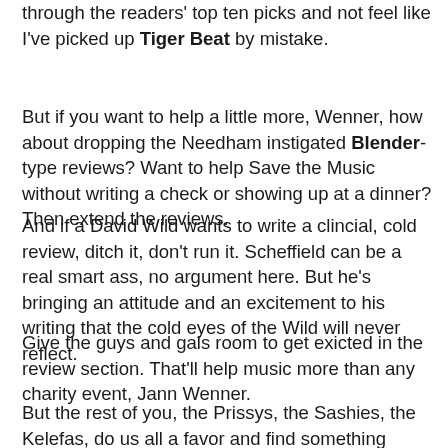through the readers' top ten picks and not feel like I've picked up Tiger Beat by mistake.
But if you want to help a little more, Wenner, how about dropping the Needham instigated Blender-type reviews? Want to help Save the Music without writing a check or showing up at a dinner? Then extend the reviews.
And if a David Wild wants to write a clincial, cold review, ditch it, don't run it. Scheffield can be a real smart ass, no argument here. But he's bringing an attitude and an excitement to his writing that the cold eyes of the Wild will never reflect.
Give the guys and gals room to get exicted in the review section. That'll help music more than any charity event, Jann Wenner.
But the rest of you, the Prissys, the Sashies, the Kelefas, do us all a favor and find something you're interested in to write about. All you do is bore us and make music boring. Start writing about Broadway, maybe, but quit inflicting your